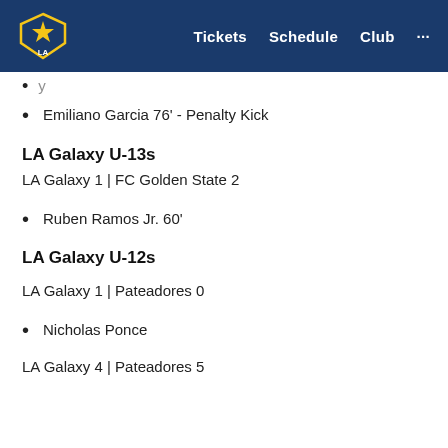LA Galaxy | Tickets  Schedule  Club ...
Emiliano Garcia 76' - Penalty Kick
LA Galaxy U-13s
LA Galaxy 1 | FC Golden State 2
Ruben Ramos Jr. 60'
LA Galaxy U-12s
LA Galaxy 1 | Pateadores 0
Nicholas Ponce
LA Galaxy 4 | Pateadores 5